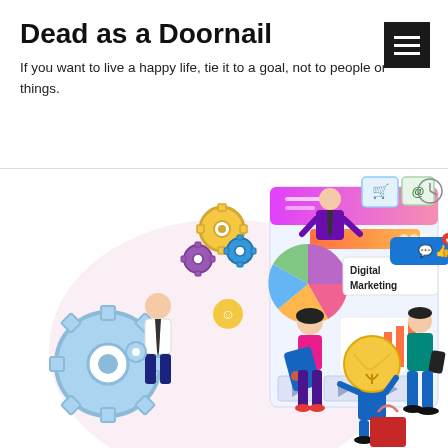Dead as a Doornail
If you want to live a happy life, tie it to a goal, not to people or things.
[Figure (illustration): Digital marketing flat illustration showing people working with gears, tablets, social media icons, a pie chart, a bar chart, a light bulb character, and 'Digital Marketing' text label in a modern flat design style]